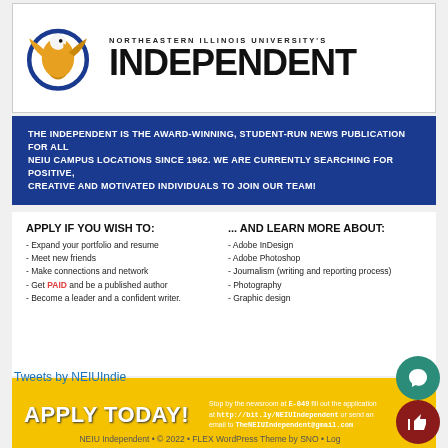[Figure (logo): Northeastern Illinois University eagle logo with golden eagle and blue circle, beside NORTHEASTERN ILLINOIS UNIVERSITY'S INDEPENDENT masthead]
THE INDEPENDENT IS THE AWARD-WINNING, STUDENT-RUN NEWS PUBLICATION FOR ALL NEIU CAMPUS LOCATIONS SINCE 1962. WE ARE CURRENTLY SEARCHING FOR POSITIVE, CREATIVE AND MOTIVATED INDIVIDUALS TO JOIN OUR TEAM!
APPLY IF YOU WISH TO:
Expand your portfolio and resume
Meet new friends
Make connections and network
Get PAID and be a published author
Become a leader and a confident writer.
... AND LEARN MORE ABOUT:
Adobe InDesign
Adobe Photoshop
Journalism (writing and reporting process)
Photography
Graphic design
APPLY TODAY! Stop by the newsroom at E-049 fill out the application at http://bit.ly/NEIUIndependent or send an email to TheNEIUIndependent@gmail.com
Tweets by NEIUIndie
NEIU Independent • © 2022 • FLEX WordPress Theme by SNO • Log